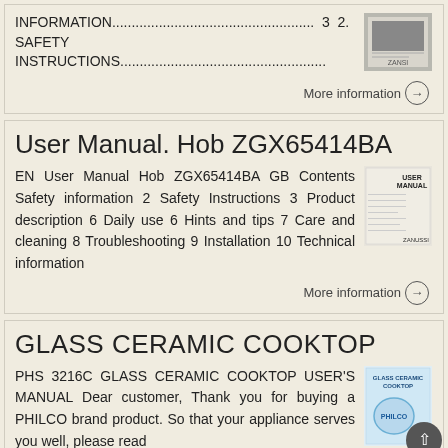INFORMATION....................................................  3  2. SAFETY INSTRUCTIONS.....................................................
[Figure (photo): Thumbnail image of a user manual cover]
More information →
User Manual. Hob ZGX65414BA
EN User Manual Hob ZGX65414BA GB Contents Safety information 2 Safety Instructions 3 Product description 6 Daily use 6 Hints and tips 7 Care and cleaning 8 Troubleshooting 9 Installation 10 Technical information
[Figure (photo): Thumbnail image of User Manual Hob ZGX65414BA cover]
More information →
GLASS CERAMIC COOKTOP
PHS 3216C GLASS CERAMIC COOKTOP USER'S MANUAL Dear customer, Thank you for buying a PHILCO brand product. So that your appliance serves you well, please read
[Figure (photo): Thumbnail image of Philco Glass Ceramic Cooktop manual cover]